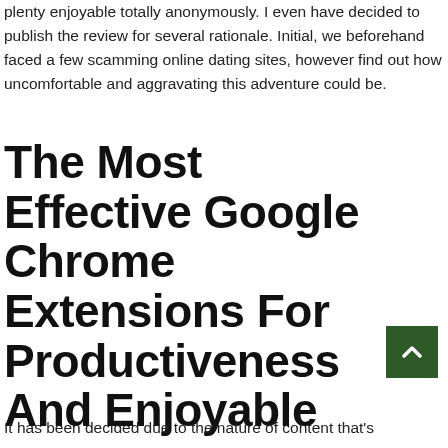plenty enjoyable totally anonymously. I even have decided to publish the review for several rationale. Initial, we beforehand faced a few scamming online dating sites, however find out how uncomfortable and aggravating this adventure could be.
The Most Effective Google Chrome Extensions For Productiveness And Enjoyable
It has been decided due to the nature of content that's